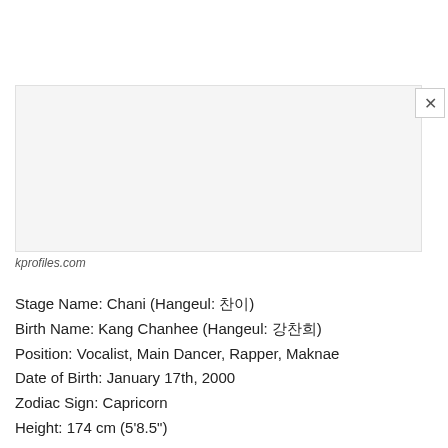[Figure (photo): Light gray empty photo placeholder box with a close (×) button in the top-right corner]
kprofiles.com
Stage Name: Chani (Hangeul: 찬이)
Birth Name: Kang Chanhee (Hangeul: 강찬희)
Position: Vocalist, Main Dancer, Rapper, Maknae
Date of Birth: January 17th, 2000
Zodiac Sign: Capricorn
Height: 174 cm (5'8.5")